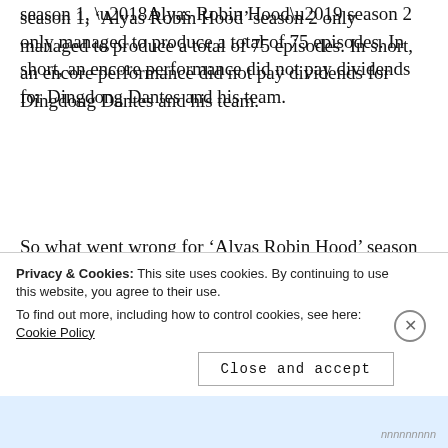season 1, ‘Alyas Robin Hood’ season 2 only managed to produce a total of 75 episodes. In short, an encore performance did not pay dividends for Dingdong Dantes and his team.
So what went wrong for ‘Alyas Robin Hood’ season 2? Perhaps the most obvious reason why it failed is because it had to contend against ABS-CBN’s big-name stars like
Privacy & Cookies: This site uses cookies. By continuing to use this website, you agree to their use.
To find out more, including how to control cookies, see here: Cookie Policy